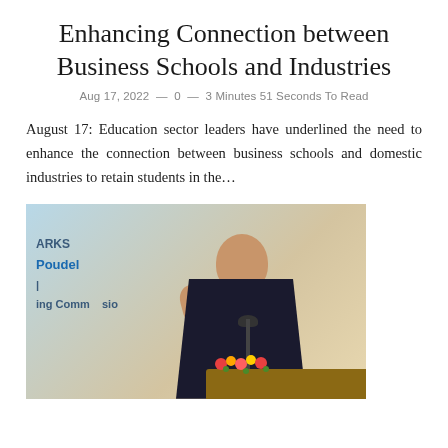Enhancing Connection between Business Schools and Industries
Aug 17, 2022 — 0 — 3 Minutes 51 Seconds To Read
August 17: Education sector leaders have underlined the need to enhance the connection between business schools and domestic industries to retain students in the…
[Figure (photo): A man in a dark business suit speaking at a podium with a microphone, raising one hand. A banner behind him partially shows text including 'ARKS', 'Poudel', and 'ing Commission'. Flowers are visible on the podium.]